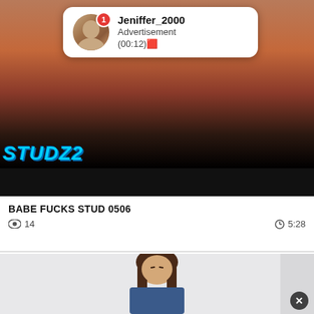[Figure (screenshot): Video thumbnail showing adult content with colorful STUDZ2 text overlay at bottom left]
[Figure (infographic): Notification bubble overlay showing user Jeniffer_2000 with avatar, badge count 1, text Advertisement (00:12) with emoji]
BABE FUCKS STUD 0506
14   5:28
[Figure (screenshot): Video thumbnail showing a woman with long brown hair looking down, wearing blue, against light background]